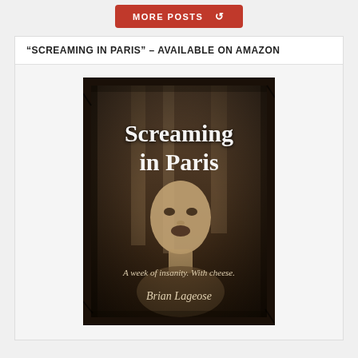[Figure (other): Red button labeled MORE POSTS with a back-arrow icon]
“SCREAMING IN PARIS” – AVAILABLE ON AMAZON
[Figure (illustration): Book cover for 'Screaming in Paris' by Brian Lageose. Sepia-toned photo of a man with mouth open, looking distressed, inside a framed aged/distressed border. Subtitle: 'A week of insanity. With cheese.']